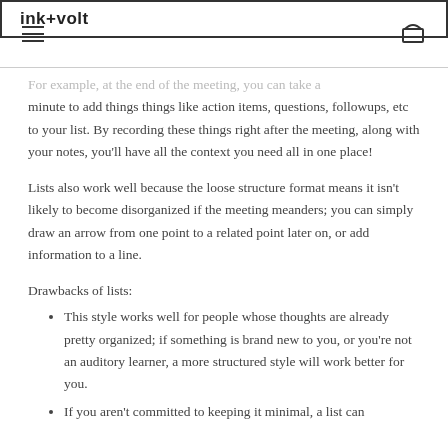ink+volt
For example, at the end of the meeting, you can take a minute to add things things like action items, questions, followups, etc to your list. By recording these things right after the meeting, along with your notes, you'll have all the context you need all in one place!
Lists also work well because the loose structure format means it isn't likely to become disorganized if the meeting meanders; you can simply draw an arrow from one point to a related point later on, or add information to a line.
Drawbacks of lists:
This style works well for people whose thoughts are already pretty organized; if something is brand new to you, or you're not an auditory learner, a more structured style will work better for you.
If you aren't committed to keeping it minimal, a list can